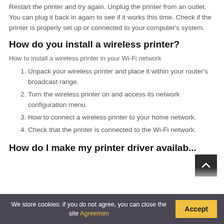Restart the printer and try again. Unplug the printer from an outlet. You can plug it back in again to see if it works this time. Check if the printer is properly set up or connected to your computer's system.
How do you install a wireless printer?
How to install a wireless printer in your Wi-Fi network
Unpack your wireless printer and place it within your router's broadcast range.
Turn the wireless printer on and access its network configuration menu.
How to connect a wireless printer to your home network.
Check that the printer is connected to the Wi-Fi network.
How do I make my printer driver availab...
We store cookies: if you do not agree, you can close the site Agreemen